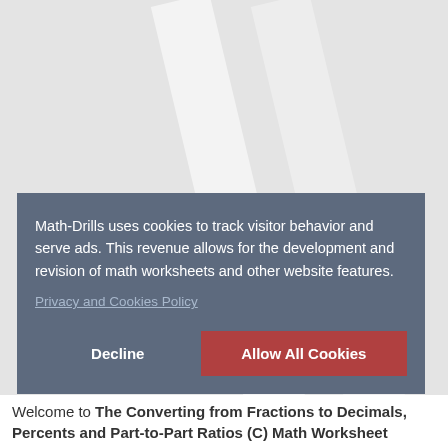Math-Drills uses cookies to track visitor behavior and serve ads. This revenue allows for the development and revision of math worksheets and other website features.
Privacy and Cookies Policy
Decline
Allow All Cookies
Welcome to The Converting from Fractions to Decimals, Percents and Part-to-Part Ratios (C) Math Worksheet